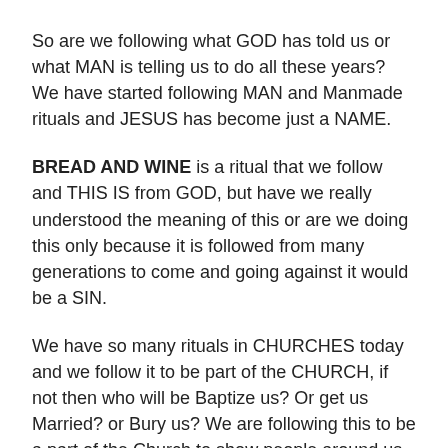So are we following what GOD has told us or what MAN is telling us to do all these years? We have started following MAN and Manmade rituals and JESUS has become just a NAME.
BREAD AND WINE is a ritual that we follow and THIS IS from GOD, but have we really understood the meaning of this or are we doing this only because it is followed from many generations to come and going against it would be a SIN.
We have so many rituals in CHURCHES today and we follow it to be part of the CHURCH, if not then who will be Baptize us? Or get us Married? or Bury us? We are following this to be a part of the Church to show people around us that we are Holy. But is your Heart really